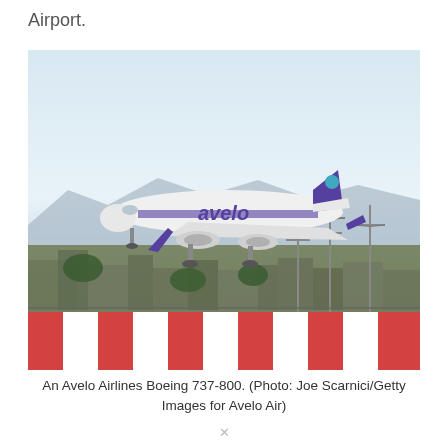Airport.
[Figure (photo): An Avelo Airlines Boeing 737-800 aircraft in flight on approach to land, with urban background, power lines, mountains, and a red-and-white barrier visible below.]
An Avelo Airlines Boeing 737-800. (Photo: Joe Scarnici/Getty Images for Avelo Air)